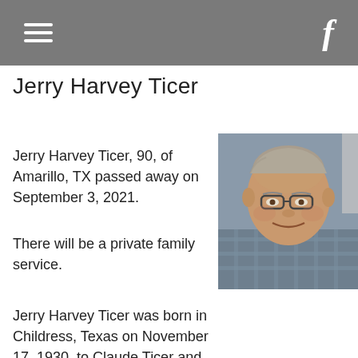≡  f
Jerry Harvey Ticer
Jerry Harvey Ticer, 90, of Amarillo, TX passed away on September 3, 2021.
[Figure (photo): Portrait photograph of Jerry Harvey Ticer, an elderly man wearing glasses, smiling, with a plaid shirt background]
There will be a private family service.
Jerry Harvey Ticer was born in Childress, Texas on November 17, 1930, to Claude Ticer and Gladys